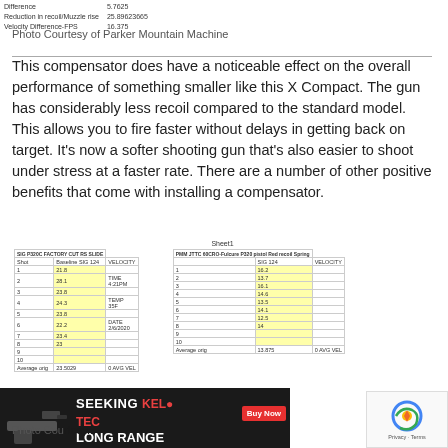| Difference |  | 5.7625 |
| Reduction in recoil/Muzzle rise |  | 25.89623665 |
| Velocity Difference-FPS |  | 16.375 |
Photo Courtesy of Parker Mountain Machine
This compensator does have a noticeable effect on the overall performance of something smaller like this X Compact. The gun has considerably less recoil compared to the standard model. This allows you to fire faster without delays in getting back on target. It's now a softer shooting gun that's also easier to shoot under stress at a faster rate. There are a number of other positive benefits that come with installing a compensator.
[Figure (table-as-image): Spreadsheet titled Sheet1 showing two tables side by side: SIG P320C FACTORY CUT RS SLIDE Baseline SIG 124 velocity data (shots 1-10, values ~21.8-28.1) and PMM JTTC 60CRO-Fulcure P320 pistol Red recoil Spring SIG 124 velocity data (shots 1-10, values ~12.5-16.2). Includes time 4:21PM, temp 35F, date 2/6/2020. Average orig 23.5029, 0 AVG VEL and 13.875, 0 AVG VEL. Difference 0.6875, Reduction in recoil 41.11435030.]
[Figure (photo): Advertisement banner for Kel-Tec CP33 pistol with text 'SEEKING LONG RANGE RELATIONSHIP' and Buy Now button]
Photo Cou...